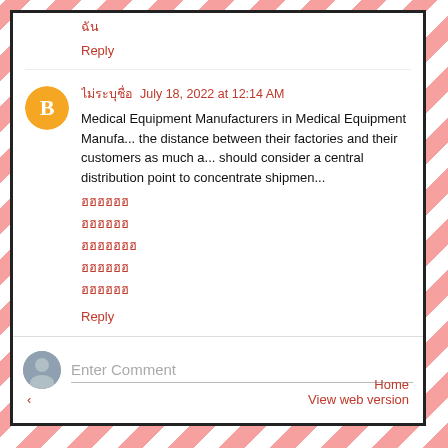ฉัน
Reply
ไม่ระบุชื่อ  July 18, 2022 at 12:14 AM
Medical Equipment Manufacturers in Medical Equipment Manufacturers should minimize the distance between their factories and their customers as much as possible. They should consider a central distribution point to concentrate shipments.
ลบแล้ว
ลบแล้ว
ลบแล้ว
ลบแล้ว
ลบแล้ว
Reply
Enter Comment
‹  Home  View web version